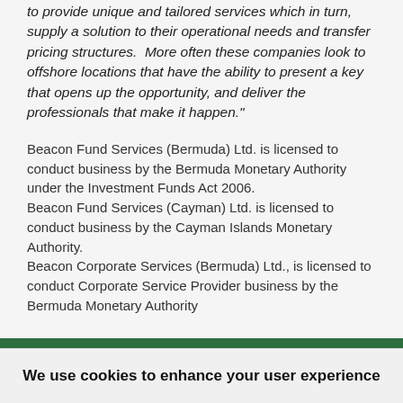to provide unique and tailored services which in turn, supply a solution to their operational needs and transfer pricing structures.  More often these companies look to offshore locations that have the ability to present a key that opens up the opportunity, and deliver the professionals that make it happen."
Beacon Fund Services (Bermuda) Ltd. is licensed to conduct business by the Bermuda Monetary Authority under the Investment Funds Act 2006. Beacon Fund Services (Cayman) Ltd. is licensed to conduct business by the Cayman Islands Monetary Authority. Beacon Corporate Services (Bermuda) Ltd., is licensed to conduct Corporate Service Provider business by the Bermuda Monetary Authority
We use cookies to enhance your user experience